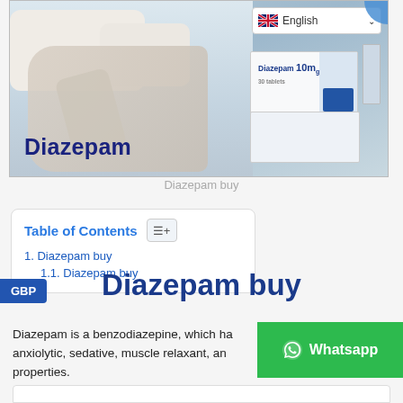[Figure (photo): A man sleeping in bed with a Diazepam 10mg medication box shown, with 'Diazepam' text overlaid in bold dark blue]
Diazepam buy
| Table of Contents |
| --- |
| 1. Diazepam buy |
| 1.1. Diazepam buy |
Diazepam buy
Diazepam is a benzodiazepine, which has anxiolytic, sedative, muscle relaxant, and properties.